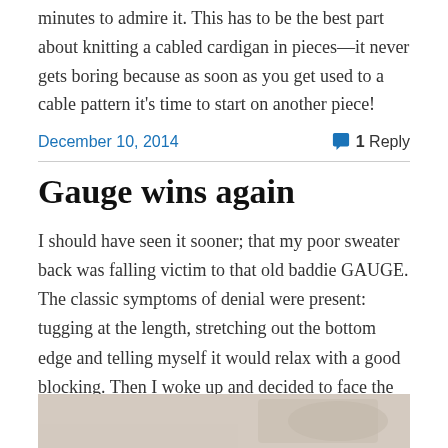minutes to admire it. This has to be the best part about knitting a cabled cardigan in pieces—it never gets boring because as soon as you get used to a cable pattern it's time to start on another piece!
December 10, 2014   1 Reply
Gauge wins again
I should have seen it sooner; that my poor sweater back was falling victim to that old baddie GAUGE. The classic symptoms of denial were present: tugging at the length, stretching out the bottom edge and telling myself it would relax with a good blocking. Then I woke up and decided to face the truth.
[Figure (photo): Partial view of a knitted fabric or related craft item, cropped at bottom of page]